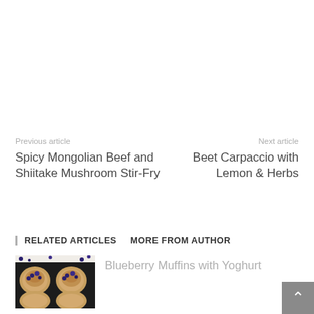Previous article
Spicy Mongolian Beef and Shiitake Mushroom Stir-Fry
Next article
Beet Carpaccio with Lemon & Herbs
RELATED ARTICLES   MORE FROM AUTHOR
[Figure (photo): Muffin tin with blueberry muffins and scattered blueberries on white surface]
Blueberry Muffins with Yoghurt